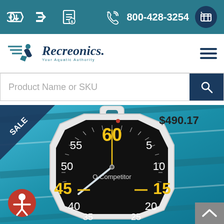800-428-3254
[Figure (logo): Recreonics logo with tagline 'Your Aquatic Authority']
Product Name or SKU
[Figure (photo): Large stopwatch/pace clock labeled 'Competitor' with yellow and white numerals (60, 55, 50, 45, 40, 35, 5, 10, 15, 20, 25) on black face with white octagonal case, photographed above a swimming pool lane. Price tag $490.17. SALE badge in corner.]